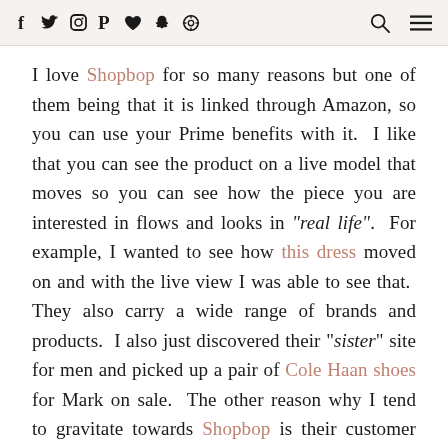Social media icons and navigation icons
I love Shopbop for so many reasons but one of them being that it is linked through Amazon, so you can use your Prime benefits with it. I like that you can see the product on a live model that moves so you can see how the piece you are interested in flows and looks in "real life". For example, I wanted to see how this dress moved on and with the live view I was able to see that. They also carry a wide range of brands and products. I also just discovered their "sister" site for men and picked up a pair of Cole Haan shoes for Mark on sale. The other reason why I tend to gravitate towards Shopbop is their customer service. I have never had to wait on long holds. Any problems I've ever had, they have credited me back something for my inconvenience and have had a